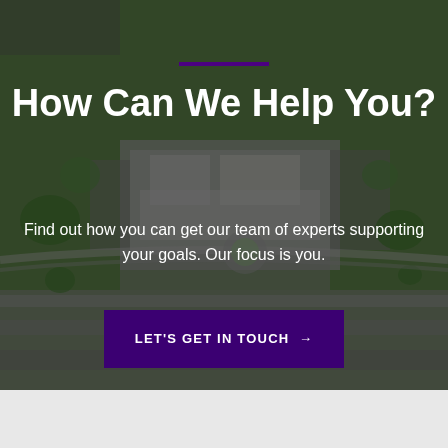[Figure (photo): Aerial photograph of a large commercial or institutional campus building with parking lots, surrounded by trees and a highway in the foreground. Dark overlay applied.]
How Can We Help You?
Find out how you can get our team of experts supporting your goals. Our focus is you.
LET'S GET IN TOUCH →